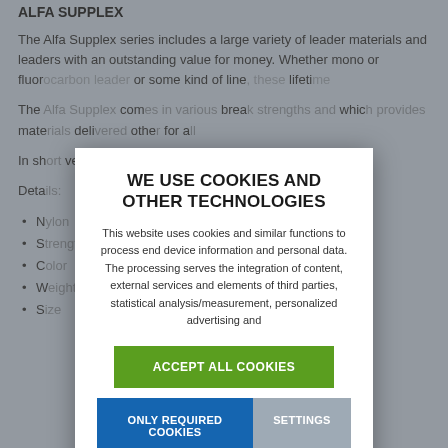The Alfa Supplex series includes a large variety of leader materials and leaders with an outstanding value for money. Whether mono or fluoro... lifeti...
The ... com... break... which... mate... deli... othe... for a...
In sh... vers...
Deta...
N...
S...
C...
W...
S...
WE USE COOKIES AND OTHER TECHNOLOGIES
This website uses cookies and similar functions to process end device information and personal data. The processing serves the integration of content, external services and elements of third parties, statistical analysis/measurement, personalized advertising and
ACCEPT ALL COOKIES
ONLY REQUIRED COOKIES
SETTINGS
Legal Info  |  Privacy Policy